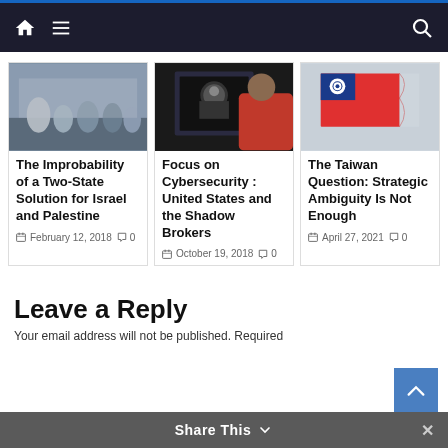Navigation bar with home, menu, and search icons
[Figure (photo): People walking, including a woman in a white shirt, with soldiers in background near a stone wall]
The Improbability of a Two-State Solution for Israel and Palestine
February 12, 2018  0
[Figure (photo): Person in hoodie with Guy Fawkes Anonymous mask on a screen, viewed from behind by a person in red]
Focus on Cybersecurity : United States and the Shadow Brokers
October 19, 2018  0
[Figure (photo): Taiwan flag (red with blue canton and white sun symbol) waving against a light sky]
The Taiwan Question: Strategic Ambiguity Is Not Enough
April 27, 2021  0
Leave a Reply
Your email address will not be published. Required
Share This  ×